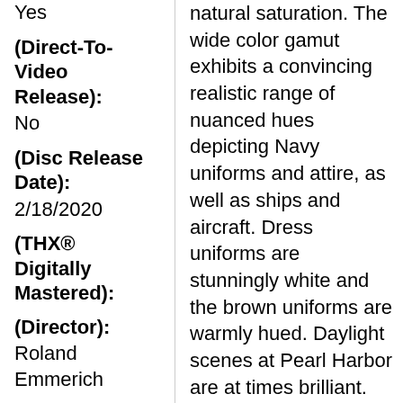Yes
(Direct-To-Video Release): No
(Disc Release Date): 2/18/2020
(THX® Digitally Mastered):
(Director): Roland Emmerich
(Screenplay/ Written By):
natural saturation. The wide color gamut exhibits a convincing realistic range of nuanced hues depicting Navy uniforms and attire, as well as ships and aircraft. Dress uniforms are stunningly white and the brown uniforms are warmly hued. Daylight scenes at Pearl Harbor are at times brilliant. The scenes of destruction are filled with dark smoke and are realistic. Spots of color adorn the women and various interior environments. The Japanese uniforms are